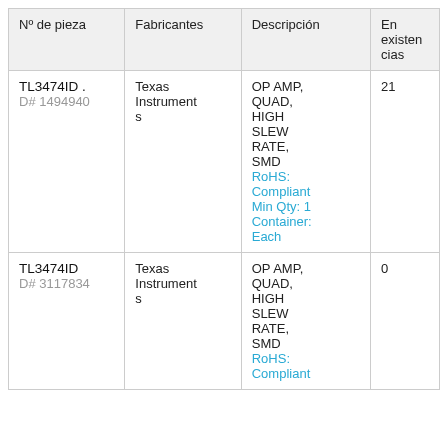| Nº de pieza | Fabricantes | Descripción | En existencias |
| --- | --- | --- | --- |
| TL3474ID .
D# 1494940 | Texas Instruments | OP AMP, QUAD, HIGH SLEW RATE, SMD
RoHS: Compliant
Min Qty: 1
Container: Each | 21 |
| TL3474ID
D# 3117834 | Texas Instruments | OP AMP, QUAD, HIGH SLEW RATE, SMD
RoHS: Compliant | 0 |